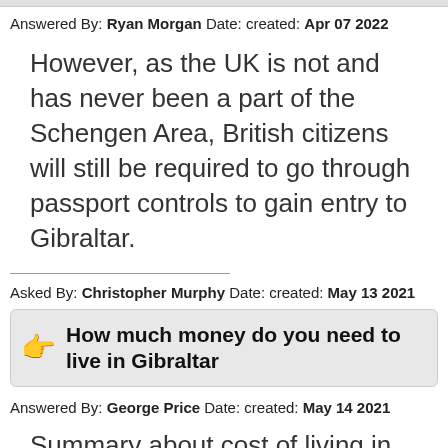Answered By: Ryan Morgan Date: created: Apr 07 2022
However, as the UK is not and has never been a part of the Schengen Area, British citizens will still be required to go through passport controls to gain entry to Gibraltar.
Asked By: Christopher Murphy Date: created: May 13 2021
How much money do you need to live in Gibraltar
Answered By: George Price Date: created: May 14 2021
Summary about cost of living in Gibraltar, Gibraltar: Family of four estimated monthly costs are 3,207$ (2,324£) without rent. A single person estimated monthly costs are 893$